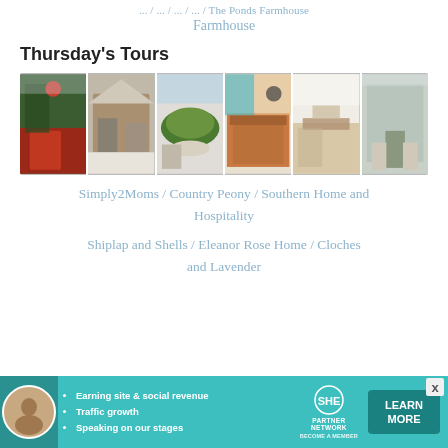... / ... / ... / ... / The Ponds Farmhouse
Thursday's Tours
[Figure (photo): Collage of six interior/exterior home decor photos showing farmhouse styles]
Simply2Moms / Country Peony / Southern Home and Hospitality
Shiplap and Shells / Eleanor Rose Home / Cloches and Lavender
[Figure (infographic): SHE Partner Network advertisement banner with Learn More button]